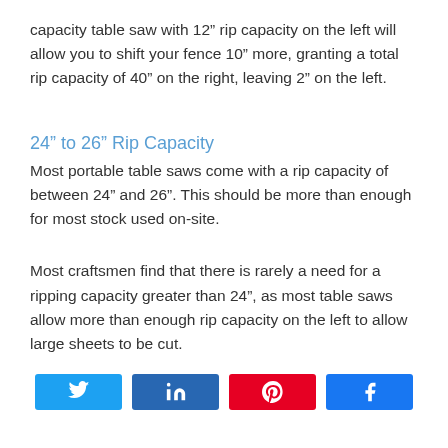capacity table saw with 12” rip capacity on the left will allow you to shift your fence 10” more, granting a total rip capacity of 40” on the right, leaving 2” on the left.
24” to 26” Rip Capacity
Most portable table saws come with a rip capacity of between 24” and 26”. This should be more than enough for most stock used on-site.
Most craftsmen find that there is rarely a need for a ripping capacity greater than 24”, as most table saws allow more than enough rip capacity on the left to allow large sheets to be cut.
[Figure (infographic): Social share buttons: Twitter (blue), LinkedIn (dark blue), Pinterest (red), Facebook (blue)]